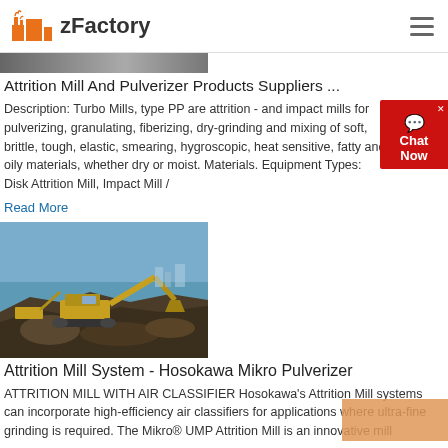zFactory
[Figure (photo): Partial view of industrial machinery or mill equipment, appearing as a horizontal strip at the top]
Attrition Mill And Pulverizer Products Suppliers ...
Description: Turbo Mills, type PP are attrition - and impact mills for pulverizing, granulating, fiberizing, dry-grinding and mixing of soft, brittle, tough, elastic, smearing, hygroscopic, heat sensitive, fatty and oily materials, whether dry or moist. Materials. Equipment Types: Disk Attrition Mill, Impact Mill /
Read More
[Figure (photo): Yellow excavator working on a rocky site near a body of water, with a cityscape or landscape in the background]
Attrition Mill System - Hosokawa Mikro Pulverizer
ATTRITION MILL WITH AIR CLASSIFIER Hosokawa's Attrition Mill systems can incorporate high-efficiency air classifiers for applications where ultra-fine grinding is required. The Mikro® UMP Attrition Mill is an innovative mill